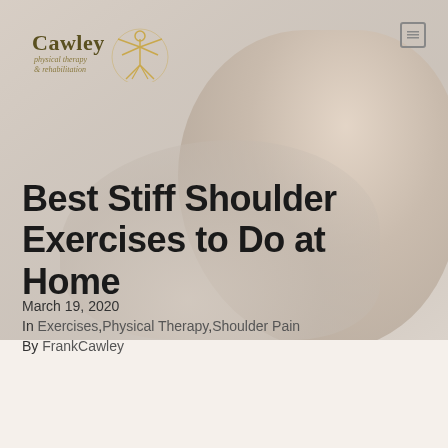[Figure (photo): Background photo of elderly person holding shoulder with soft warm tones]
Best Stiff Shoulder Exercises to Do at Home
March 19, 2020
In Exercises, Physical Therapy, Shoulder Pain
By FrankCawley